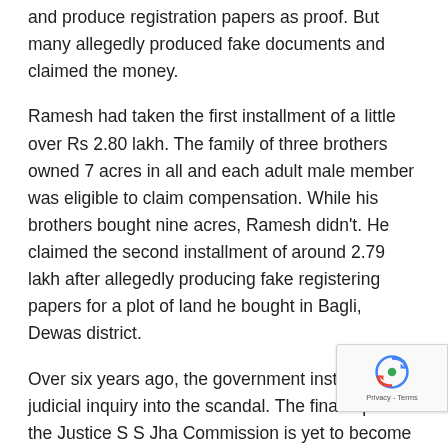and produce registration papers as proof. But many allegedly produced fake documents and claimed the money.
Ramesh had taken the first installment of a little over Rs 2.80 lakh. The family of three brothers owned 7 acres in all and each adult male member was eligible to claim compensation. While his brothers bought nine acres, Ramesh didn't. He claimed the second installment of around 2.79 lakh after allegedly producing fake registering papers for a plot of land he bought in Bagli, Dewas district.
Over six years ago, the government instituted a judicial inquiry into the scandal. The final report of the Justice S S Jha Commission is yet to become public.
Kalabai and her relatives claim brokers and government official cheated poor, illiterate farmers by getting them put their thumb impressions on papers. Ramesh is now in
[Figure (other): reCAPTCHA badge with Google logo and Privacy - Terms text]